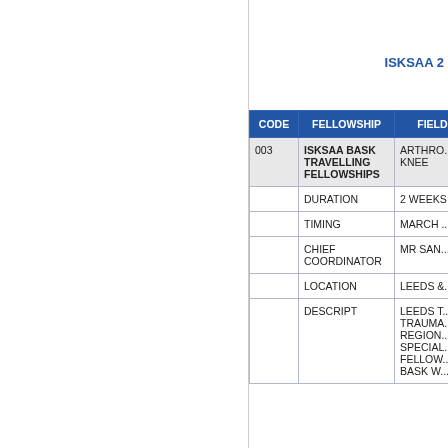ISKSAA 2
| CODE | FELLOWSHIP | FIELD O... |
| --- | --- | --- |
| 003 | ISKSAA BASK TRAVELLING FELLOWSHIPS | ARTHRO... KNEE |
|  | DURATION | 2 WEEKS |
|  | TIMING | MARCH ... |
|  | CHIEF COORDINATOR | MR SAN... |
|  | LOCATION | LEEDS &... |
|  | DESCRIPT | LEEDS T... TRAUMA... REGION... SPECIAL... FELLOW... BASK W... |